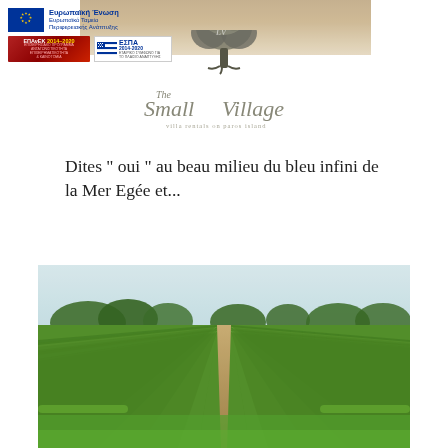[Figure (photo): Top banner with parchment/stone texture background]
[Figure (logo): European Union / Europaikó Tameío Perifereiakís Anáptixis logo with EU flag stars]
[Figure (logo): ΕΠΑνΕΚ 2014-2020 logo (red) and ΕΣΠΑ 2014-2020 logo (blue/white) side by side]
[Figure (logo): The Small Village decorative logo with tree illustration and script text]
Dites " oui " au beau milieu du bleu infini de la Mer Egée et...
[Figure (photo): Green vineyard rows stretching into distance with trees on horizon under light sky]